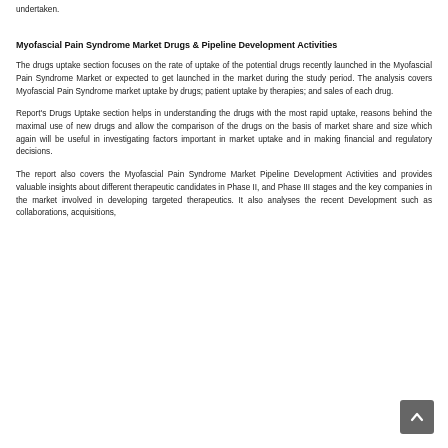undertaken.
Myofascial Pain Syndrome Market Drugs & Pipeline Development Activities
The drugs uptake section focuses on the rate of uptake of the potential drugs recently launched in the Myofascial Pain Syndrome Market or expected to get launched in the market during the study period. The analysis covers Myofascial Pain Syndrome market uptake by drugs; patient uptake by therapies; and sales of each drug.
Report's Drugs Uptake section helps in understanding the drugs with the most rapid uptake, reasons behind the maximal use of new drugs and allow the comparison of the drugs on the basis of market share and size which again will be useful in investigating factors important in market uptake and in making financial and regulatory decisions.
The report also covers the Myofascial Pain Syndrome Market Pipeline Development Activities and provides valuable insights about different therapeutic candidates in Phase II, and Phase III stages and the key companies in the market involved in developing targeted therapeutics. It also analyses the recent Development such as collaborations, acquisitions,